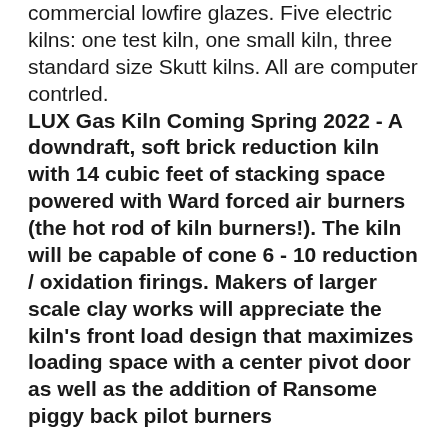commercial lowfire glazes. Five electric kilns: one test kiln, one small kiln, three standard size Skutt kilns. All are computer contrled.
LUX Gas Kiln Coming Spring 2022 - A downdraft, soft brick reduction kiln with 14 cubic feet of stacking space powered with Ward forced air burners (the hot rod of kiln burners!). The kiln will be capable of cone 6 - 10 reduction / oxidation firings. Makers of larger scale clay works will appreciate the kiln's front load design that maximizes loading space with a center pivot door as well as the addition of Ransome piggy back pilot burners